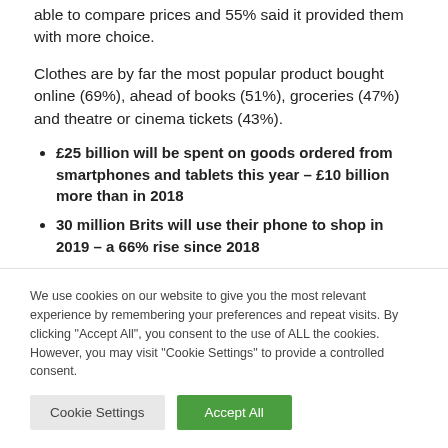able to compare prices and 55% said it provided them with more choice.
Clothes are by far the most popular product bought online (69%), ahead of books (51%), groceries (47%) and theatre or cinema tickets (43%).
£25 billion will be spent on goods ordered from smartphones and tablets this year – £10 billion more than in 2018
30 million Brits will use their phone to shop in 2019 – a 66% rise since 2018
We use cookies on our website to give you the most relevant experience by remembering your preferences and repeat visits. By clicking "Accept All", you consent to the use of ALL the cookies. However, you may visit "Cookie Settings" to provide a controlled consent.